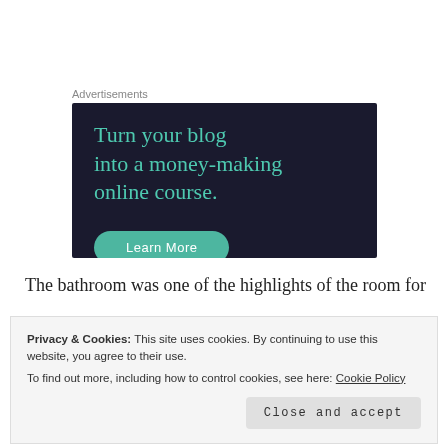Advertisements
[Figure (illustration): Dark navy advertisement banner with teal text reading 'Turn your blog into a money-making online course.' and a teal 'Learn More' button at the bottom.]
The bathroom was one of the highlights of the room for
Privacy & Cookies: This site uses cookies. By continuing to use this website, you agree to their use.
To find out more, including how to control cookies, see here: Cookie Policy
piece of drift wood which was used for holding the